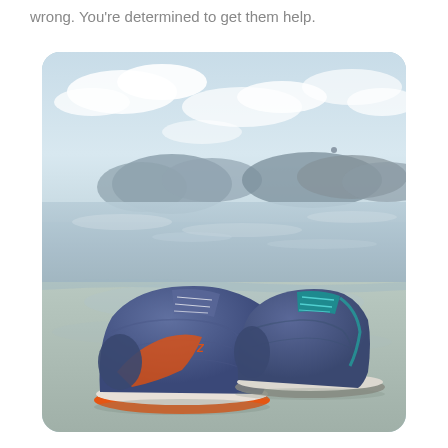wrong. You're determined to get them help.
[Figure (photo): Two pairs of running/athletic shoes sitting on a wet reflective beach with calm water, mountains in the background, and a partly cloudy sky above. The left shoe has orange accents, the right has teal/turquoise laces.]